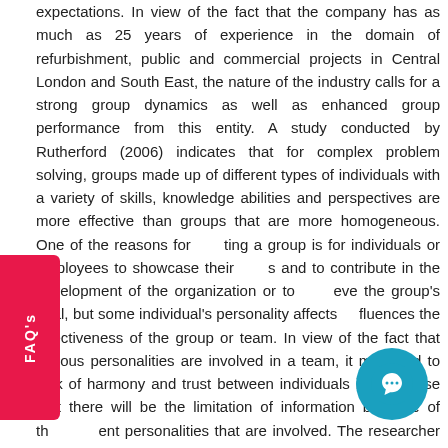expectations. In view of the fact that the company has as much as 25 years of experience in the domain of refurbishment, public and commercial projects in Central London and South East, the nature of the industry calls for a strong group dynamics as well as enhanced group performance from this entity. A study conducted by Rutherford (2006) indicates that for complex problem solving, groups made up of different types of individuals with a variety of skills, knowledge abilities and perspectives are more effective than groups that are more homogeneous. One of the reasons for ating a group is for individuals or employees to showcase their s and to contribute in the development of the organization or to eve the group's goal, but some individual's personality affects fluences the effectiveness of the group or team. In view of the fact that various personalities are involved in a team, it may lead to lack of harmony and trust between individuals in the sense that there will be the limitation of information because of the different personalities that are involved. The researcher developed more interest in this topic and decided to get more information from more employees and other secondary data (Digman, 1997).